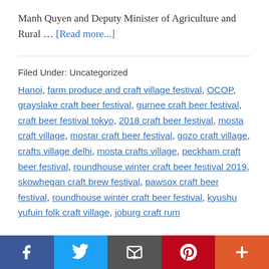Manh Quyen and Deputy Minister of Agriculture and Rural … [Read more...]
Filed Under: Uncategorized
Hanoi, farm produce and craft village festival, OCOP, grayslake craft beer festival, gurnee craft beer festival, craft beer festival tokyo, 2018 craft beer festival, mosta craft village, mostar craft beer festival, gozo craft village, crafts village delhi, mosta crafts village, peckham craft beer festival, roundhouse winter craft beer festival 2019, skowhegan craft brew festival, pawsox craft beer festival, roundhouse winter craft beer festival, kyushu yufuin folk craft village, joburg craft rum
Social share bar: Facebook, Twitter, Email, Pinterest, More